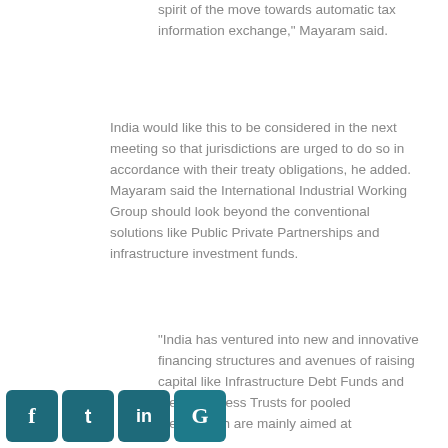spirit of the move towards automatic tax information exchange," Mayaram said.
India would like this to be considered in the next meeting so that jurisdictions are urged to do so in accordance with their treaty obligations, he added. Mayaram said the International Industrial Working Group should look beyond the conventional solutions like Public Private Partnerships and infrastructure investment funds.
"India has ventured into new and innovative financing structures and avenues of raising capital like Infrastructure Debt Funds and [Invest]ment Business Trusts for pooled [invest]ment, which are mainly aimed at